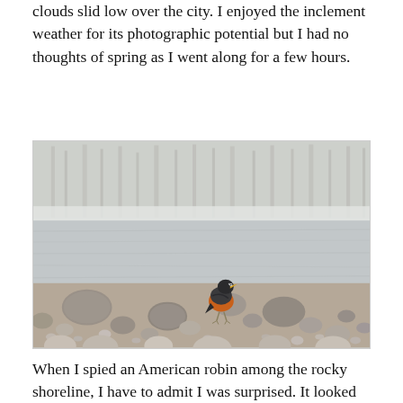clouds slid low over the city. I enjoyed the inclement weather for its photographic potential but I had no thoughts of spring as I went along for a few hours.
[Figure (photo): An American robin standing on a rocky shoreline near a partially frozen river or lake. The bird has a distinctive orange-red breast and dark head. The background shows snow-covered ground and bare winter trees out of focus.]
When I spied an American robin among the rocky shoreline, I have to admit I was surprised.  It looked and